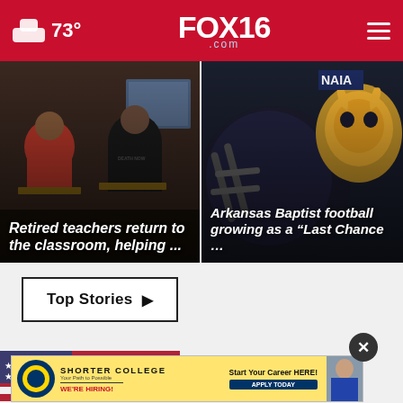73° FOX16.com
[Figure (photo): Classroom scene with students seated at desks, viewed from behind, with a teacher at the front]
Retired teachers return to the classroom, helping ...
[Figure (photo): Close-up of a football helmet with an NAIA logo and a Viking mascot in the background]
Arkansas Baptist football growing as a “Last Chance …
Top Stories ▶
[Figure (photo): Shorter College advertisement banner with logo, 'Start Your Career HERE!' text and 'APPLY TODAY' button, 'WE'RE HIRING!' text]
[Figure (photo): Partial view of US flag and news story image at bottom of page]